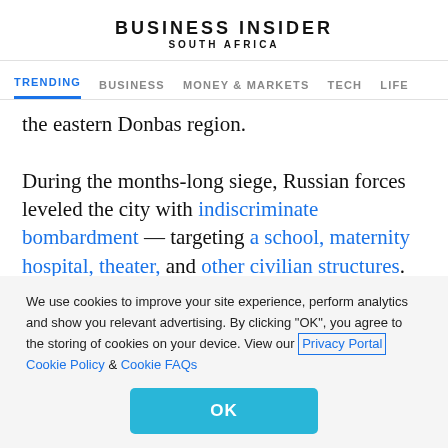BUSINESS INSIDER
SOUTH AFRICA
TRENDING   BUSINESS   MONEY & MARKETS   TECH   LIFE
the eastern Donbas region.

During the months-long siege, Russian forces leveled the city with indiscriminate bombardment — targeting a school, maternity hospital, theater, and other civilian structures. Ukrainian President Volodymyr Zelenskyy said
We use cookies to improve your site experience, perform analytics and show you relevant advertising. By clicking "OK", you agree to the storing of cookies on your device. View our Privacy Portal  Cookie Policy &  Cookie FAQs
OK